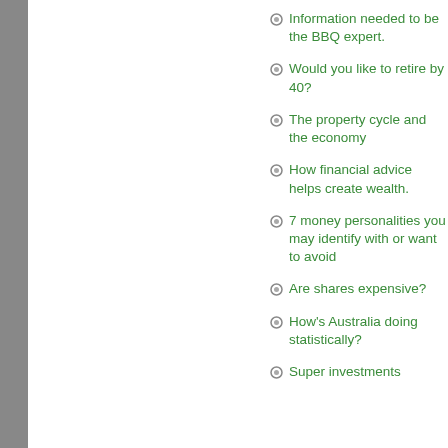Information needed to be the BBQ expert.
Would you like to retire by 40?
The property cycle and the economy
How financial advice helps create wealth.
7 money personalities you may identify with or want to avoid
Are shares expensive?
How's Australia doing statistically?
Super investments